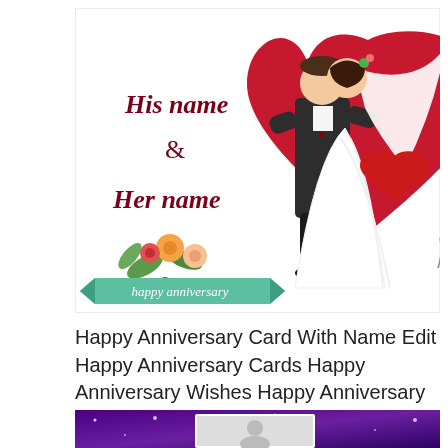[Figure (illustration): Happy anniversary greeting card illustration showing a couple dancing in front of a large red heart, with floral decorations and a teal ribbon banner reading 'happy anniversary'. Left side shows text 'His name & Her name' in dark red script.]
Happy Anniversary Card With Name Edit Happy Anniversary Cards Happy Anniversary Wishes Happy Anniversary
[Figure (photo): Partial view of a second anniversary card with purple/galaxy background and a white frame with a photo.]